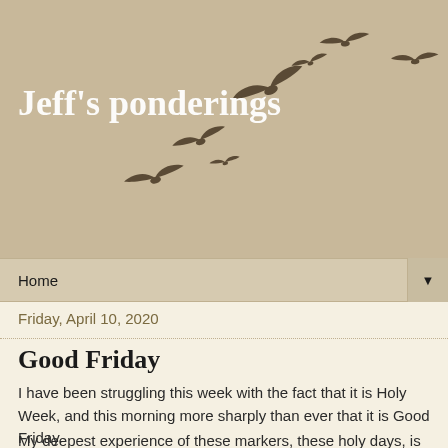[Figure (illustration): Blog header banner with tan/beige background and silhouettes of birds flying in a curved formation from lower left to upper right]
Jeff's ponderings
What does it mean that Jesus is Lord and Caesar is not? What does it mean to follow Jesus into this world? What does it mean to be filled, led, empowered by the Spirit of Jesus? Hmmm ...
Home ▼
Friday, April 10, 2020
Good Friday
I have been struggling this week with the fact that it is Holy Week, and this morning more sharply than ever that it is Good Friday.
My deepest experience of these markers, these holy days, is corporate. I am used, as the psalmist says, to being in the